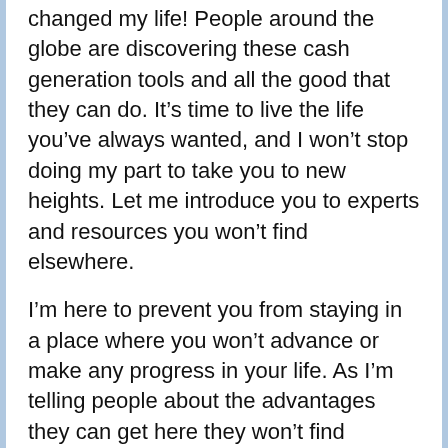changed my life! People around the globe are discovering these cash generation tools and all the good that they can do. It’s time to live the life you’ve always wanted, and I won’t stop doing my part to take you to new heights. Let me introduce you to experts and resources you won’t find elsewhere.
I’m here to prevent you from staying in a place where you won’t advance or make any progress in your life. As I’m telling people about the advantages they can get here they won’t find elsewhere, they’re pleased to see what they do. Even without experience or education pertinent to the position, you can thrive here with your will to work and learn. Don’t be left on your own another day!
To earn high income online in Raleigh, listen to me. The independence you’ve longed for can be within your grasp at last, and I’m telling men and women like you about how they can split free from the past, making their lives less stressful and more lucrative. I’m doing